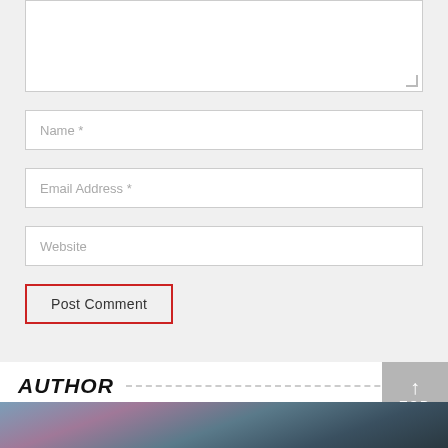[Figure (screenshot): Web comment form with textarea (partially shown at top), Name field, Email Address field, Website field, and Post Comment button on a light gray background.]
AUTHOR
[Figure (photo): Partial photo visible at bottom of page, showing blue/purple toned foliage or plant leaves.]